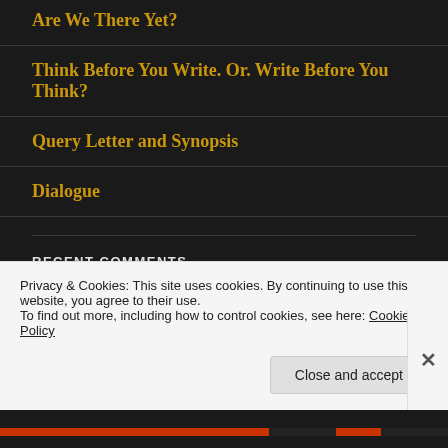Are We There Yet?
Think Before You Write. Or. Write Before You Think?
Query Letter and Synopsis
Dialogue
RECENT COMMENTS
Caroline Lord on Dialogue
Privacy & Cookies: This site uses cookies. By continuing to use this website, you agree to their use.
To find out more, including how to control cookies, see here: Cookie Policy
Close and accept